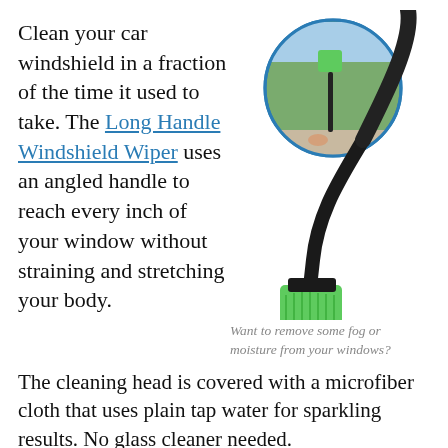Clean your car windshield in a fraction of the time it used to take. The Long Handle Windshield Wiper uses an angled handle to reach every inch of your window without straining and stretching your body.
[Figure (photo): Product photo of a Long Handle Windshield Wiper — a cleaning tool with a long black angled handle and a green microfiber cleaning head at the bottom. A circular inset photo shows the tool being used to clean a car windshield from inside the vehicle, with trees visible through the window.]
Want to remove some fog or moisture from your windows?
The cleaning head is covered with a microfiber cloth that uses plain tap water for sparkling results. No glass cleaner needed.